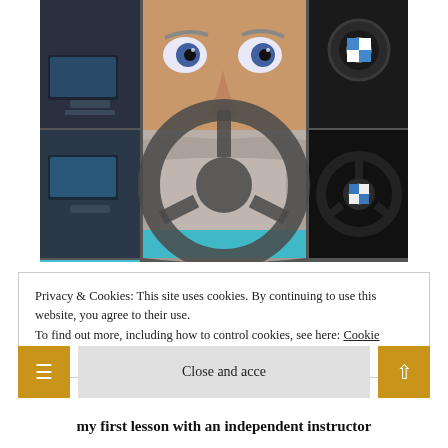[Figure (photo): Photo collage showing a bearded man's face taking a selfie, overlaid with a steering wheel graphic, surrounded by BMW car interior images and cyan/turquoise backgrounds]
Privacy & Cookies: This site uses cookies. By continuing to use this website, you agree to their use.
To find out more, including how to control cookies, see here: Cookie Policy
Close and accept
my first lesson with an independent instructor